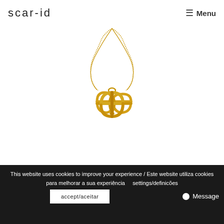scar-id  ☰ Menu
[Figure (photo): Gold sphere pendant necklace with geometric S-shaped pendant made of gold wire curves, hanging from a gold chain, on white background]
Sphere Pendant
Elina Briede
This website uses cookies to improve your experience / Este website utiliza cookies para melhorar a sua experiência   settings/definicões   accept/aceitar   Message